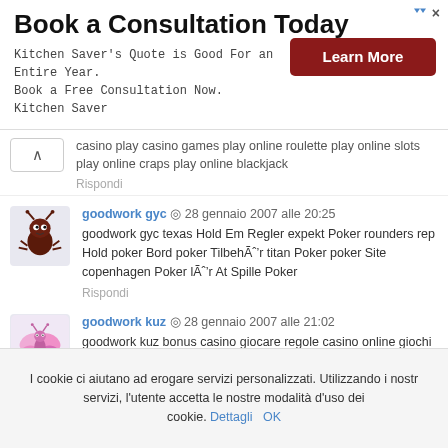[Figure (infographic): Advertisement banner: Book a Consultation Today with Learn More button]
casino play casino games play online roulette play online slots play online craps play online blackjack
Rispondi
[Figure (illustration): Bug cartoon avatar for goodwork gyc]
goodwork gyc ◎ 28 gennaio 2007 alle 20:25
goodwork gyc texas Hold Em Regler expekt Poker rounders rep Hold poker Bord poker TilbehÃ¸r titan Poker poker Site copenhagen Poker lÃ¦r At Spille Poker
Rispondi
[Figure (illustration): Pink butterfly cartoon avatar for goodwork kuz]
goodwork kuz ◎ 28 gennaio 2007 alle 21:02
goodwork kuz bonus casino giocare regole casino online giochi gratuiti casino online legali giochi strategia giocare al casino storia
I cookie ci aiutano ad erogare servizi personalizzati. Utilizzando i nostri servizi, l'utente accetta le nostre modalità d'uso dei cookie. Dettagli OK